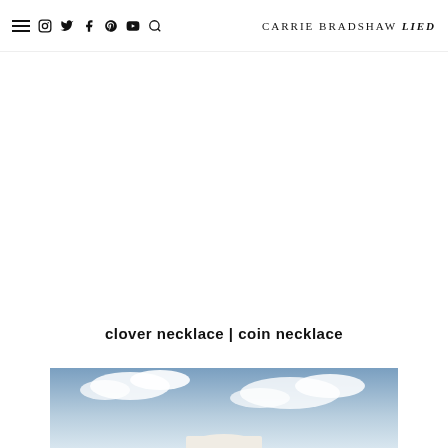CARRIE BRADSHAW LIED
clover necklace | coin necklace
[Figure (photo): Partial photo of a person wearing a hat against a blue sky with clouds, cropped at bottom of page]